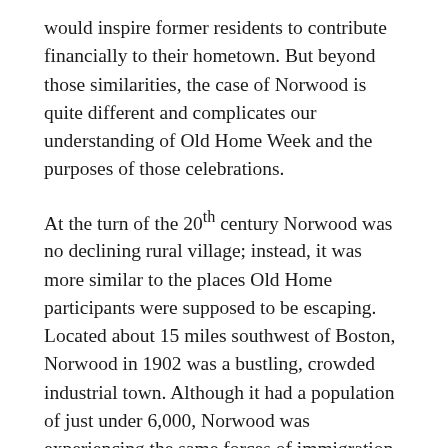would inspire former residents to contribute financially to their hometown. But beyond those similarities, the case of Norwood is quite different and complicates our understanding of Old Home Week and the purposes of those celebrations.
At the turn of the 20th century Norwood was no declining rural village; instead, it was more similar to the places Old Home participants were supposed to be escaping. Located about 15 miles southwest of Boston, Norwood in 1902 was a bustling, crowded industrial town. Although it had a population of just under 6,000, Norwood was experiencing the same forces of immigration and urbanization that were affecting larger cities and towns. The town's population had tripled in 30 years, and as early as 1895, one-third of Norwood's residents were foreign born. Many of those immigrants lived in crowded multi-family homes and worked in the loud and